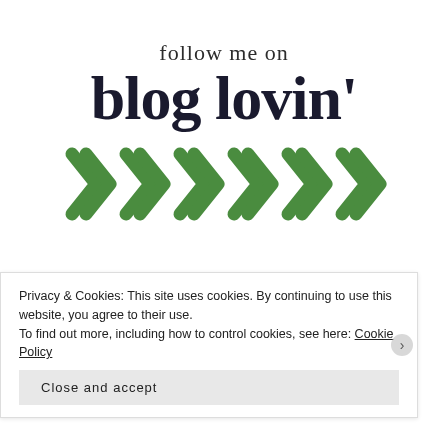[Figure (logo): Follow me on blog lovin' logo with green chevron arrows below]
CURRENT GIVEAWAYS
+ Hardcover of LIKE NEVER AND ALWAYS by Ann Aguirre
Privacy & Cookies: This site uses cookies. By continuing to use this website, you agree to their use.
To find out more, including how to control cookies, see here: Cookie Policy
Close and accept